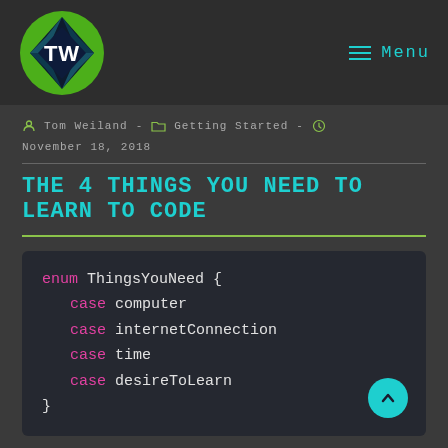TW | Menu
Tom Weiland - Getting Started - November 18, 2018
THE 4 THINGS YOU NEED TO LEARN TO CODE
[Figure (screenshot): Code block showing Swift/enum syntax: enum ThingsYouNeed { case computer case internetConnection case time case desireToLearn }]